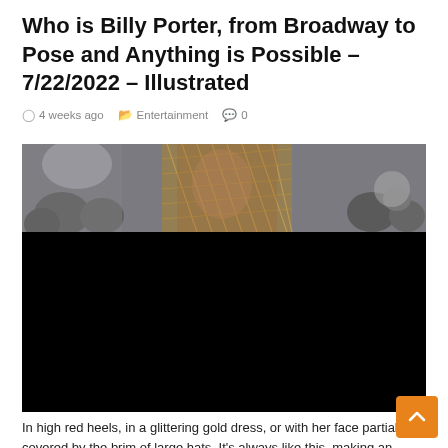Who is Billy Porter, from Broadway to Pose and Anything is Possible – 7/22/2022 – Illustrated
4 weeks ago   Entertainment   0
[Figure (photo): Photo of Billy Porter at an event, showing a gold netted garment against a blurred crowd background. The lower half of the image is black/redacted.]
In high red heels, in a glittering gold dress, or with her face partially covered by the brim of large hats. It's always like this, making an